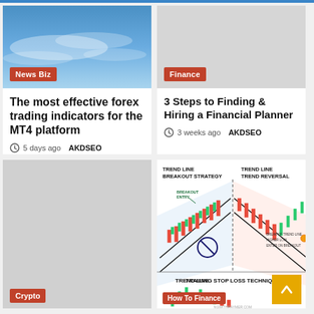[Figure (photo): Blue sky with clouds – article thumbnail for forex trading article]
News Biz
The most effective forex trading indicators for the MT4 platform
5 days ago  AKDSEO
[Figure (photo): Gray placeholder image for finance article]
Finance
3 Steps to Finding & Hiring a Financial Planner
3 weeks ago  AKDSEO
[Figure (photo): Gray placeholder image for bottom-left article]
Crypto
[Figure (infographic): Trading diagram showing Trend Line Breakout Strategy, Trend Line Trend Reversal, and Trend Line Trailing Stop Loss Technique with candlestick charts]
How To Finance